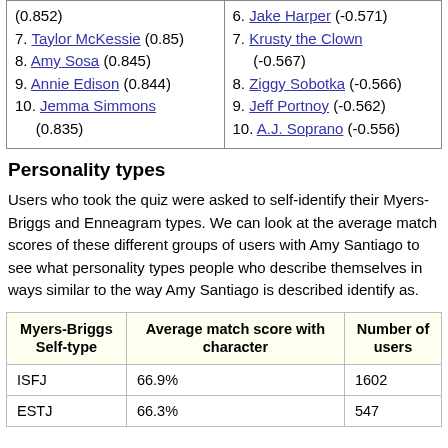7. Taylor McKessie (0.85)
8. Amy Sosa (0.845)
9. Annie Edison (0.844)
10. Jemma Simmons (0.835)
6. Jake Harper (-0.571)
7. Krusty the Clown (-0.567)
8. Ziggy Sobotka (-0.566)
9. Jeff Portnoy (-0.562)
10. A.J. Soprano (-0.556)
Personality types
Users who took the quiz were asked to self-identify their Myers-Briggs and Enneagram types. We can look at the average match scores of these different groups of users with Amy Santiago to see what personality types people who describe themselves in ways similar to the way Amy Santiago is described identify as.
| Myers-Briggs Self-type | Average match score with character | Number of users |
| --- | --- | --- |
| ISFJ | 66.9% | 1602 |
| ESTJ | 66.3% | 547 |